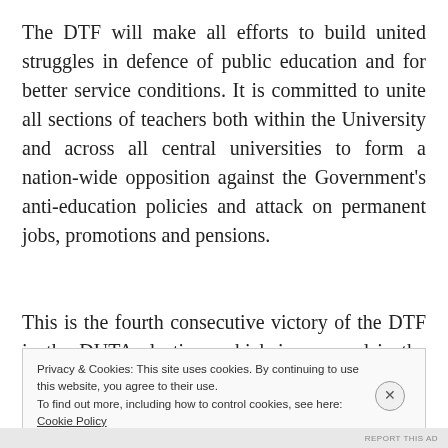The DTF will make all efforts to build united struggles in defence of public education and for better service conditions. It is committed to unite all sections of teachers both within the University and across all central universities to form a nation-wide opposition against the Government's anti-education policies and attack on permanent jobs, promotions and pensions.
This is the fourth consecutive victory of the DTF in the DUTA elections which is a record in the DUTA's
Privacy & Cookies: This site uses cookies. By continuing to use this website, you agree to their use.
To find out more, including how to control cookies, see here: Cookie Policy